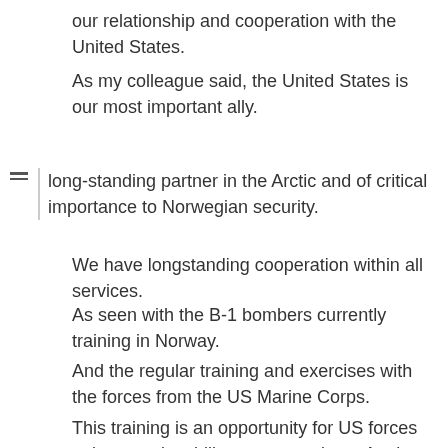our relationship and cooperation with the United States.
As my colleague said, the United States is our most important ally.
long-standing partner in the Arctic and of critical importance to Norwegian security.
We have longstanding cooperation within all services.
As seen with the B-1 bombers currently training in Norway.
And the regular training and exercises with the forces from the US Marine Corps.
This training is an opportunity for US forces to improve its ability to operate in an Arctic climate.
And for our forces to increase their interoperability.